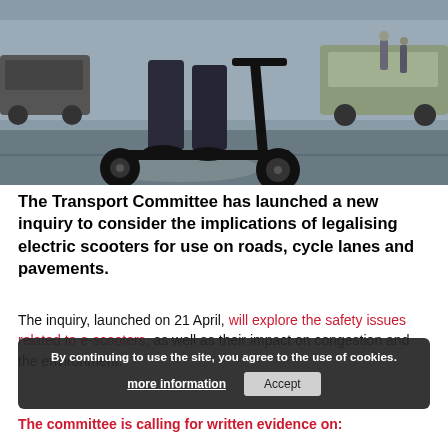[Figure (photo): A person riding an electric scooter on a city street at a crosswalk intersection, with cars and pedestrians visible in the background. Urban street scene.]
The Transport Committee has launched a new inquiry to consider the implications of legalising electric scooters for use on roads, cycle lanes and pavements.
The inquiry, launched on 21 April, will explore the safety issues related to e-scooters, as well as their impact on congestion and the environment.
By continuing to use the site, you agree to the use of cookies.
The committee is calling for written evidence on: